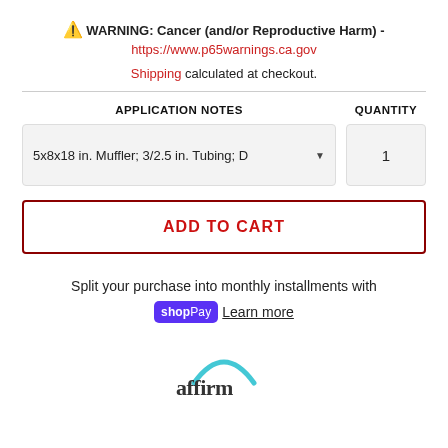⚠ WARNING: Cancer (and/or Reproductive Harm) - https://www.p65warnings.ca.gov
Shipping calculated at checkout.
| APPLICATION NOTES | QUANTITY |
| --- | --- |
| 5x8x18 in. Muffler; 3/2.5 in. Tubing; D ▾ | 1 |
ADD TO CART
Split your purchase into monthly installments with shop Pay  Learn more
[Figure (logo): Affirm logo - teal arc above 'affirm' text in dark gray]